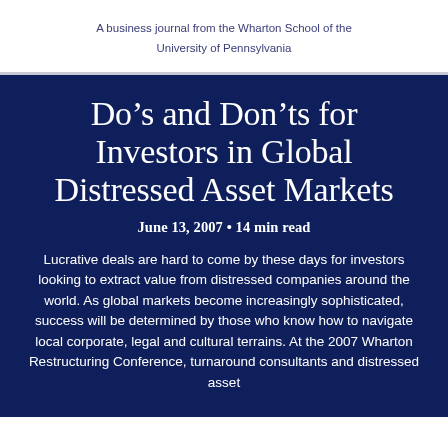A business journal from the Wharton School of the University of Pennsylvania
Do’s and Don’ts for Investors in Global Distressed Asset Markets
June 13, 2007 • 14 min read
Lucrative deals are hard to come by these days for investors looking to extract value from distressed companies around the world. As global markets become increasingly sophisticated, success will be determined by those who know how to navigate local corporate, legal and cultural terrains. At the 2007 Wharton Restructuring Conference, turnaround consultants and distressed asset investors